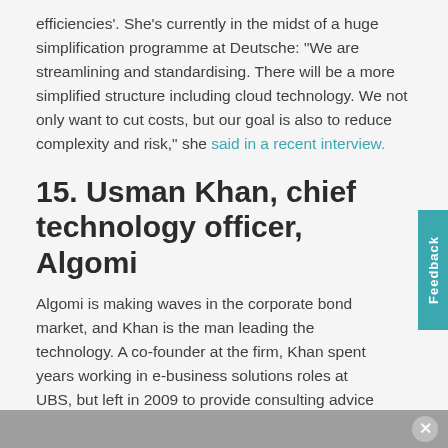efficiencies'. She's currently in the midst of a huge simplification programme at Deutsche: "We are streamlining and standardising. There will be a more simplified structure including cloud technology. We not only want to cut costs, but our goal is also to reduce complexity and risk," she said in a recent interview.
15. Usman Khan, chief technology officer, Algomi
Algomi is making waves in the corporate bond market, and Khan is the man leading the technology. A co-founder at the firm, Khan spent years working in e-business solutions roles at UBS, but left in 2009 to provide consulting advice to a number fintech firms.
Contact: pclarke@efinancialcareers.com